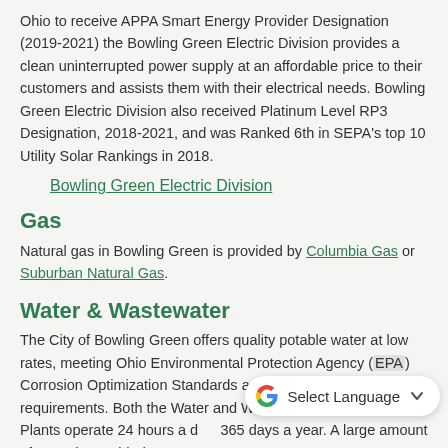Ohio to receive APPA Smart Energy Provider Designation (2019-2021) the Bowling Green Electric Division provides a clean uninterrupted power supply at an affordable price to their customers and assists them with their electrical needs. Bowling Green Electric Division also received Platinum Level RP3 Designation, 2018-2021, and was Ranked 6th in SEPA's top 10 Utility Solar Rankings in 2018.
Bowling Green Electric Division
Gas
Natural gas in Bowling Green is provided by Columbia Gas or Suburban Natural Gas.
Water & Wastewater
The City of Bowling Green offers quality potable water at low rates, meeting Ohio Environmental Protection Agency (EPA) Corrosion Optimization Standards and exceeding Ohio EPA requirements. Both the Water and Wastewater Treatment Plants operate 24 hours a day, 365 days a year. A large amount of water is provided to